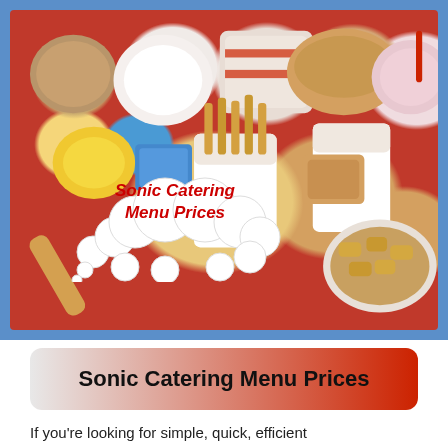[Figure (photo): Overhead view of a red Sonic Drive-In tray filled with various Sonic branded food items including wrapped burgers, french fries, tater tots, a milkshake with red straw, a cup of sour cream, American cheese sauce, and other condiments on a blue background. A white cloud/thought bubble in the lower left reads 'Sonic Catering Menu Prices' in bold red italic text.]
Sonic Catering Menu Prices
If you're looking for simple, quick, efficient